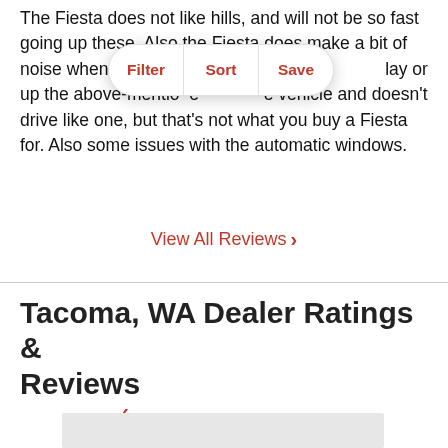The Fiesta does not like hills, and will not be so fast going up these. Also the Fiesta does make a bit of noise when it starts and drives. Some say it's normal for this type of vehicle. Some would say or up the above-mentioned vehicle and doesn't drive like one, but that's not what you buy a Fiesta for. Also some issues with the automatic windows.
[Figure (other): Filter/Sort/Save pill-shaped button bar overlay with three options: Filter, Sort, Save in red text on white background]
View All Reviews >
Tacoma, WA Dealer Ratings & Reviews
[Figure (map): Gray map area placeholder at bottom of page]